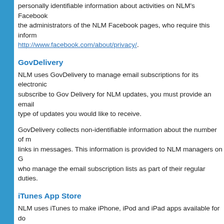personally identifiable information about activities on NLM's Facebook the administrators of the NLM Facebook pages, who require this inform http://www.facebook.com/about/privacy/.
GovDelivery
NLM uses GovDelivery to manage email subscriptions for its electronic subscribe to Gov Delivery for NLM updates, you must provide an email type of updates you would like to receive.
GovDelivery collects non-identifiable information about the number of links in messages. This information is provided to NLM managers on G who manage the email subscription lists as part of their regular duties.
iTunes App Store
NLM uses iTunes to make iPhone, iPod and iPad apps available for do http://www.nlm.nih.gov/mobile/. You do not need to register or provide application to view information about NLM apps, iTunes collects inform
If you have an iTunes account and download an app, you may rate or visible to other iTunes visitors, including NLM staff. The amount of visib personally identifiable information, you should not create an iTunes acc
NLM does not collect, maintain, disclose, or share any information abo information on how many times an app is downloaded and the contine